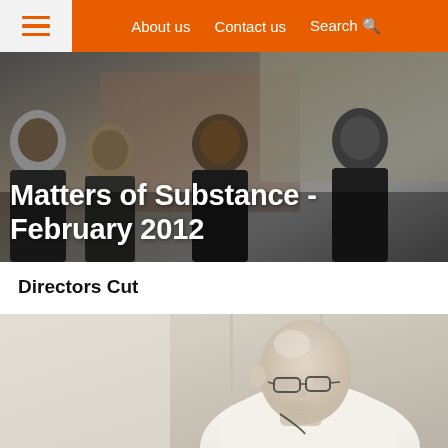≡   About us   Contact us   Search 🔍
Matters of Substance - February 2012
Directors Cut
[Figure (photo): Portrait photo of a bald man with glasses wearing a white shirt, photographed in an indoor setting with blurred background]